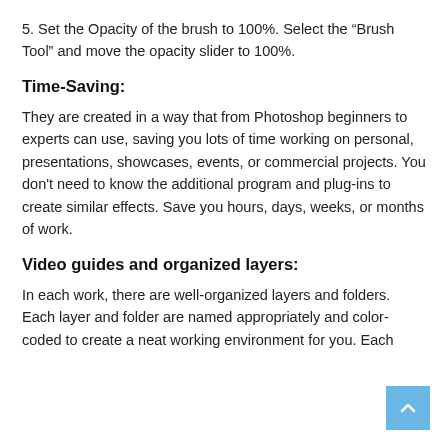5. Set the Opacity of the brush to 100%. Select the “Brush Tool” and move the opacity slider to 100%.
Time-Saving:
They are created in a way that from Photoshop beginners to experts can use, saving you lots of time working on personal, presentations, showcases, events, or commercial projects. You don't need to know the additional program and plug-ins to create similar effects. Save you hours, days, weeks, or months of work.
Video guides and organized layers:
In each work, there are well-organized layers and folders. Each layer and folder are named appropriately and color-coded to create a neat working environment for you. Each action comes with a detailed video tutorial showing you how to use it.